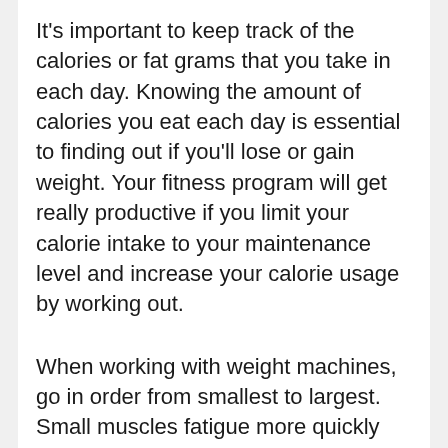It's important to keep track of the calories or fat grams that you take in each day. Knowing the amount of calories you eat each day is essential to finding out if you'll lose or gain weight. Your fitness program will get really productive if you limit your calorie intake to your maintenance level and increase your calorie usage by working out.
When working with weight machines, go in order from smallest to largest. Small muscles fatigue more quickly than large muscles, so using barbells before larger machines makes sense. By the time you are ready to exercise large muscle groups, the smaller muscles can rest.
… N/A Instead, wake up 15 minutes before…